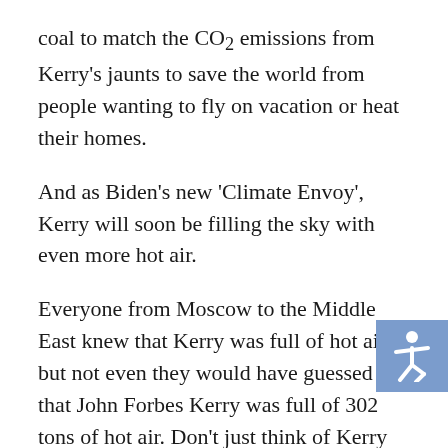coal to match the CO2 emissions from Kerry's jaunts to save the world from people wanting to fly on vacation or heat their homes.
And as Biden's new 'Climate Envoy', Kerry will soon be filling the sky with even more hot air.
Everyone from Moscow to the Middle East knew that Kerry was full of hot air, but not even they would have guessed that John Forbes Kerry was full of 302 tons of hot air. Don't just think of Kerry as a politician, but as the Exxon Valdez with a "Save the Whales" sticker on the hull.
Biden's 'Climate Envoy' recently argued that coal,